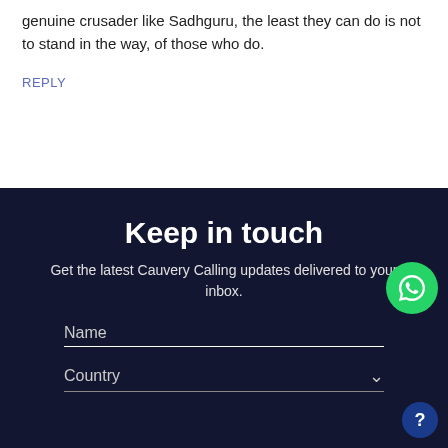genuine crusader like Sadhguru, the least they can do is not to stand in the way, of those who do.
REPLY
Keep in touch
Get the latest Cauvery Calling updates delivered to your inbox.
Name
Country